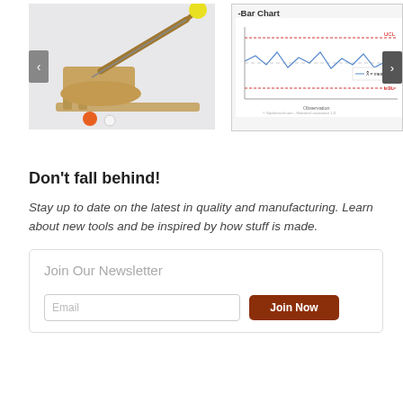[Figure (photo): Wooden catapult toy with yellow ball on arm, orange and white balls at base, shown on white background. Carousel with left arrow button.]
[Figure (line-chart): Control chart labeled 'Bar Chart' showing a fluctuating line with UCL and LCL horizontal reference lines in red, on a white background with a right arrow button overlay.]
Don't fall behind!
Stay up to date on the latest in quality and manufacturing.  Learn about new tools and be inspired by how stuff is made.
Join Our Newsletter
Email
Join Now